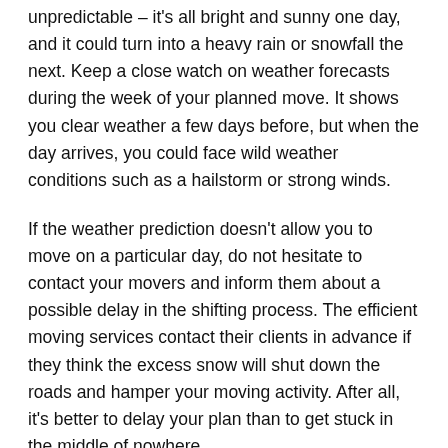unpredictable – it's all bright and sunny one day, and it could turn into a heavy rain or snowfall the next. Keep a close watch on weather forecasts during the week of your planned move. It shows you clear weather a few days before, but when the day arrives, you could face wild weather conditions such as a hailstorm or strong winds.
If the weather prediction doesn't allow you to move on a particular day, do not hesitate to contact your movers and inform them about a possible delay in the shifting process. The efficient moving services contact their clients in advance if they think the excess snow will shut down the roads and hamper your moving activity. After all, it's better to delay your plan than to get stuck in the middle of nowhere.
3. Pack your Stuff well in Advance